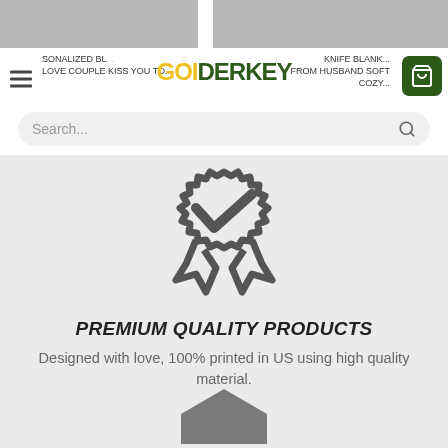[Figure (screenshot): Product images row showing two partially visible product thumbnails at the top of a shopping website]
GOIDERKEY — SONALIZED BL... KNIFE BLANK... LOVE COUPLE KISS YOU TO... FROM HUSBAND SOFT COZY...
Search...
[Figure (illustration): Quality badge icon: a circular ribbon award badge with a checkmark inside, drawn in dark gray outline style]
PREMIUM QUALITY PRODUCTS
Designed with love, 100% printed in US using high quality material.
[Figure (illustration): Partial view of a hexagon icon at the bottom of the page, dark gray color]